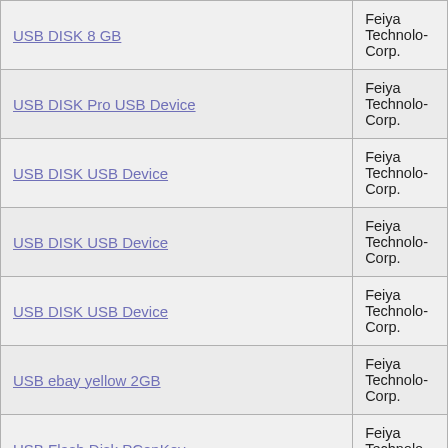| Device Name | Manufacturer |
| --- | --- |
| USB DISK 8 GB | Feiya Technology Corp. |
| USB DISK Pro USB Device | Feiya Technology Corp. |
| USB DISK USB Device | Feiya Technology Corp. |
| USB DISK USB Device | Feiya Technology Corp. |
| USB DISK USB Device | Feiya Technology Corp. |
| USB ebay yellow 2GB | Feiya Technology Corp. |
| USB Flash Disk PConKey | Feiya Technology Corp. |
| USB Flash Disk USB Device | Feiya Technology Corp. |
| USB Flash Disk USB Device | Feiya Technology Corp. |
| USB Flash Disk USB Device | Feiya Technology Corp. |
| USB Flash Disk USB Device | Feiya Technology Corp. |